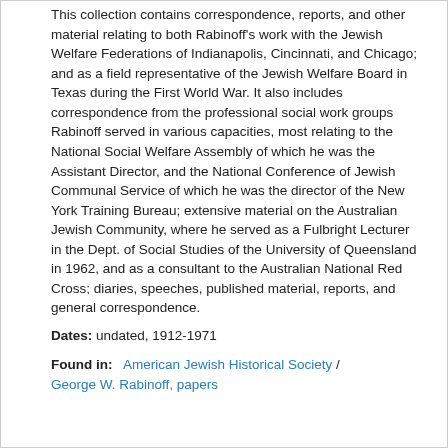This collection contains correspondence, reports, and other material relating to both Rabinoff's work with the Jewish Welfare Federations of Indianapolis, Cincinnati, and Chicago; and as a field representative of the Jewish Welfare Board in Texas during the First World War. It also includes correspondence from the professional social work groups Rabinoff served in various capacities, most relating to the National Social Welfare Assembly of which he was the Assistant Director, and the National Conference of Jewish Communal Service of which he was the director of the New York Training Bureau; extensive material on the Australian Jewish Community, where he served as a Fulbright Lecturer in the Dept. of Social Studies of the University of Queensland in 1962, and as a consultant to the Australian National Red Cross; diaries, speeches, published material, reports, and general correspondence.
Dates: undated, 1912-1971
Found in: American Jewish Historical Society / George W. Rabinoff, papers